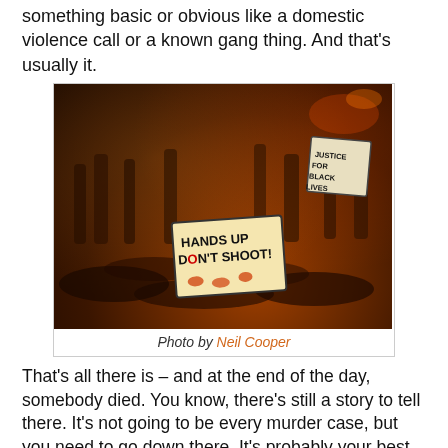something basic or obvious like a domestic violence call or a known gang thing. And that's usually it.
[Figure (photo): Night protest photo showing crowd of people lying on the ground in a die-in protest, with a sign reading 'HANDS UP DON'T SHOOT' visible in the foreground. Dark orange ambient lighting.]
Photo by Neil Cooper
That's all there is – and at the end of the day, somebody died. You know, there's still a story to tell there. It's not going to be every murder case, but you need to go down there. It's probably your best crack at finding witnesses – obviously at finding witnesses, but also finding family members who will show up before everyone kind of just kind of scatters away. It's a lost opportunity to not armchair cover.  When drowning in Newark, in nearly a hundred murders per year, there were